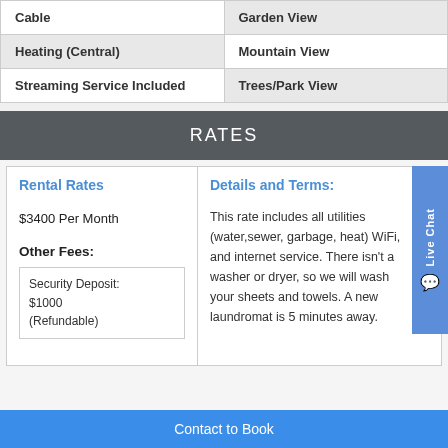| Cable | Garden View |
| Heating (Central) | Mountain View |
| Streaming Service Included | Trees/Park View |
RATES
Rental Rates
$3400 Per Month
Other Fees:
Security Deposit: $1000 (Refundable)
Details and Terms:
This rate includes all utilities (water,sewer, garbage, heat) WiFi, and internet service. There isn't a washer or dryer, so we will wash your sheets and towels. A new laundromat is 5 minutes away.
Contact to Book